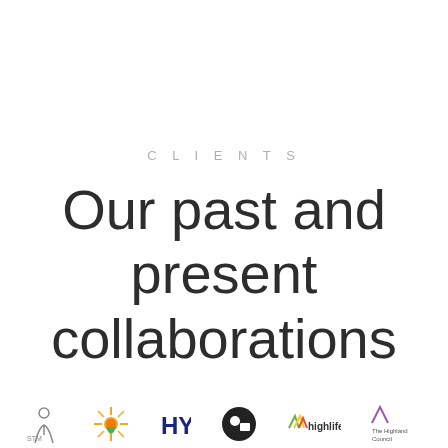CLIENTS
Our past and present collaborations
[Figure (logo): Row of client logos at bottom of page including: stylized figure logo, sun/star logo, HY logo, circular logo, highlife logo, and The Highland Council logo]